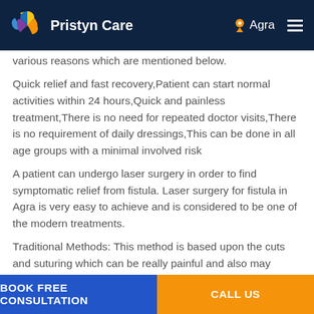Pristyn Care — Agra
various reasons which are mentioned below.
Quick relief and fast recovery,Patient can start normal activities within 24 hours,Quick and painless treatment,There is no need for repeated doctor visits,There is no requirement of daily dressings,This can be done in all age groups with a minimal involved risk
A patient can undergo laser surgery in order to find symptomatic relief from fistula. Laser surgery for fistula in Agra is very easy to achieve and is considered to be one of the modern treatments.
Traditional Methods: This method is based upon the cuts and suturing which can be really painful and also may
BOOK FREE CONSULTATION   CALL US